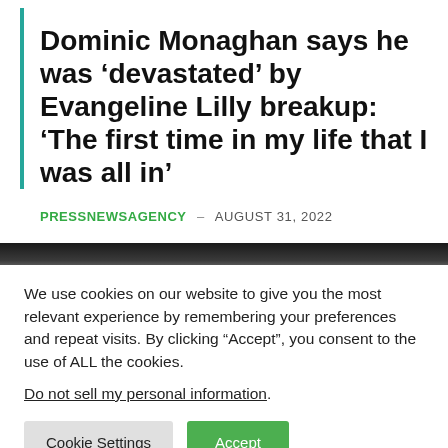Dominic Monaghan says he was ‘devastated’ by Evangeline Lilly breakup: ‘The first time in my life that I was all in’
PRESSNEWSAGENCY – AUGUST 31, 2022
[Figure (photo): Dark image strip partially visible at bottom of article header area]
We use cookies on our website to give you the most relevant experience by remembering your preferences and repeat visits. By clicking “Accept”, you consent to the use of ALL the cookies.
Do not sell my personal information.
Cookie Settings   Accept